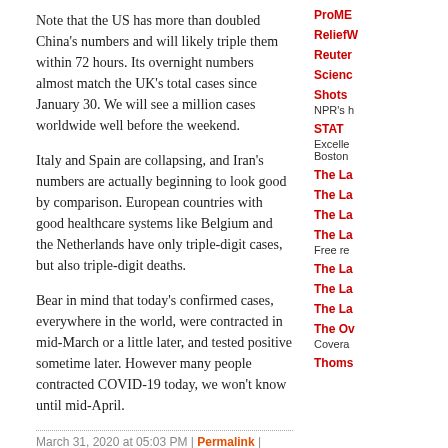Note that the US has more than doubled China's numbers and will likely triple them within 72 hours. Its overnight numbers almost match the UK's total cases since January 30. We will see a million cases worldwide well before the weekend.
Italy and Spain are collapsing, and Iran's numbers are actually beginning to look good by comparison. European countries with good healthcare systems like Belgium and the Netherlands have only triple-digit cases, but also triple-digit deaths.
Bear in mind that today's confirmed cases, everywhere in the world, were contracted in mid-March or a little later, and tested positive sometime later. However many people contracted COVID-19 today, we won't know until mid-April.
March 31, 2020 at 05:03 PM | Permalink | Comments (0)
COVID-19 and the rebounding Chinese economy
Via Caixin Daily: a couple of news items and then a long comment:
ProME
ReliefW
Reuter
Scienc
Shots NPR's h
STAT Excelle Boston
The La
The La
The La
The La Free re
The La
The La
The La
The Ov Covera
Thoms